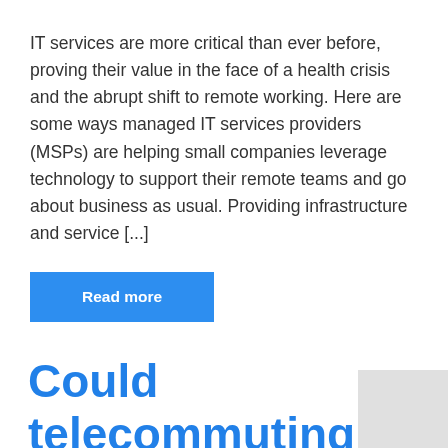IT services are more critical than ever before, proving their value in the face of a health crisis and the abrupt shift to remote working. Here are some ways managed IT services providers (MSPs) are helping small companies leverage technology to support their remote teams and go about business as usual. Providing infrastructure and service [...]
Read more
Could telecommuting be the new norm?